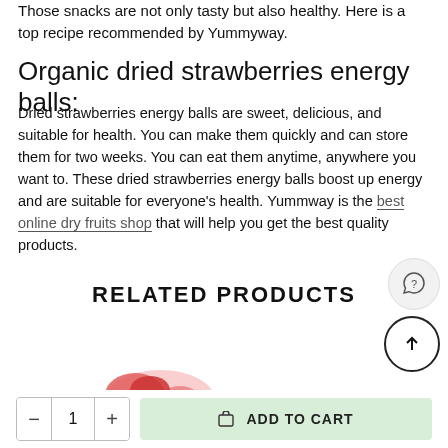Those snacks are not only tasty but also healthy. Here is a top recipe recommended by Yummyway.
Organic dried strawberries energy balls:
Dried strawberries energy balls are sweet, delicious, and suitable for health. You can make them quickly and can store them for two weeks. You can eat them anytime, anywhere you want to. These dried strawberries energy balls boost up energy and are suitable for everyone’s health. Yummway is the best online dry fruits shop that will help you get the best quality products.
RELATED PRODUCTS
[Figure (photo): Partial product image at the bottom of the page, showing red/pink fruits (likely strawberries)]
ADD TO CART (quantity control with minus, 1, plus buttons and add to cart button)